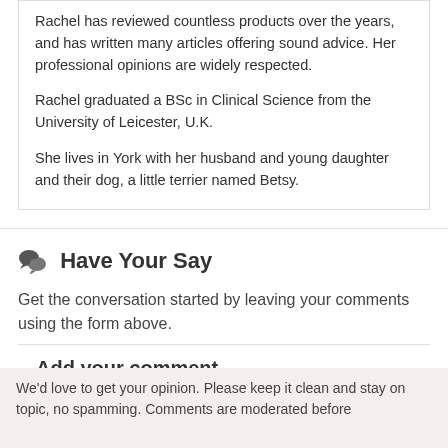Rachel has reviewed countless products over the years, and has written many articles offering sound advice. Her professional opinions are widely respected.
Rachel graduated a BSc in Clinical Science from the University of Leicester, U.K.
She lives in York with her husband and young daughter and their dog, a little terrier named Betsy.
Have Your Say
Get the conversation started by leaving your comments using the form above.
Add your comment
We'd love to get your opinion. Please keep it clean and stay on topic, no spamming. Comments are moderated before